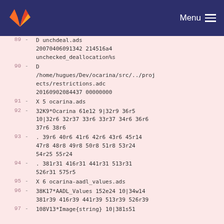GitLab Menu
89  - D unchdeal.ads 20070406091342 214516a4 unchecked_deallocation%s
90  - D /home/hugues/Dev/ocarina/src/../projects/restrictions.adc 20160902084437 00000000
91  - X 5 ocarina.ads
92  - 32K9*Ocarina 61e12 9|32r9 36r5 10|32r6 32r37 33r6 33r37 34r6 36r6 37r6 38r6
93  - . 39r6 40r6 41r6 42r6 43r6 45r14 47r8 48r8 49r8 50r8 51r8 53r24 54r25 55r24
94  - . 381r31 416r31 441r31 513r31 526r31 575r5
95  - X 6 ocarina-aadl_values.ads
96  - 38K17*AADL_Values 152e24 10|34w14 381r39 416r39 441r39 513r39 526r39
97  - 108V13*Image{string} 10|381s51